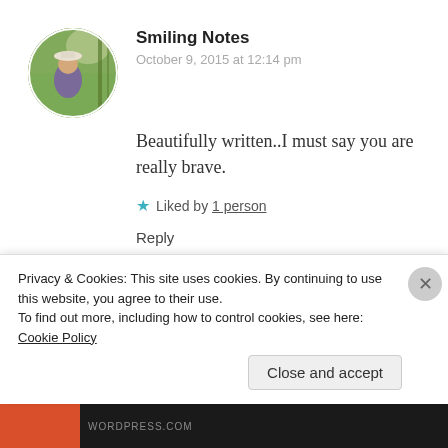[Figure (photo): Circular avatar photo of Smiling Notes commenter showing a person outdoors with greenery]
Smiling Notes
October 9, 2015 at 12:14 pm
Beautifully written..I must say you are really brave.
★ Liked by 1 person
Reply
[Figure (photo): Square avatar photo of Marcus commenter showing a person with dark background]
Marcus
October 9, 2015 at 3:03 pm
Privacy & Cookies: This site uses cookies. By continuing to use this website, you agree to their use.
To find out more, including how to control cookies, see here: Cookie Policy
Close and accept